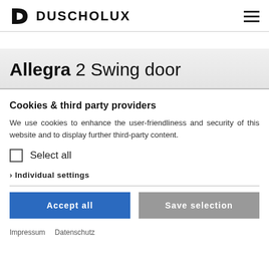DUSCHOLUX
Allegra 2 Swing door
Cookies & third party providers
We use cookies to enhance the user-friendliness and security of this website and to display further third-party content.
Select all
› Individual settings
Accept all
Save selection
Impressum   Datenschutz